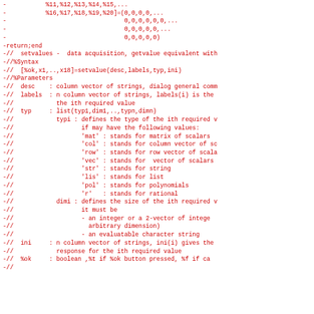Code/comment block showing Scilab setvalue function documentation